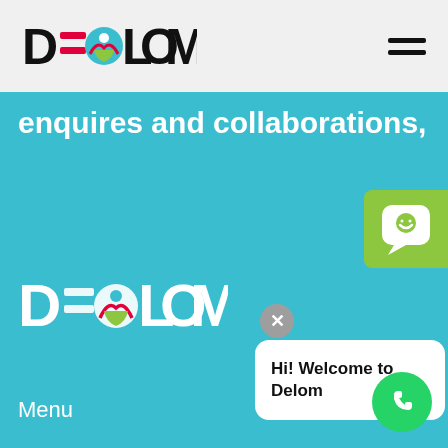[Figure (logo): DELOM logo in header with colorful circle icon and bold black text]
[Figure (other): Hamburger menu icon (three horizontal lines)]
enquires and collaborations,
[Figure (logo): DELOM logo in white on teal background]
Menu
Company
Careers
Services
Contact Us
[Figure (illustration): Green chat/message button with smiley face speech bubble icon]
[Figure (illustration): Grey circular close/dismiss button with X]
Hi! Welcome to Delom
[Figure (illustration): WhatsApp green circular button with phone icon]